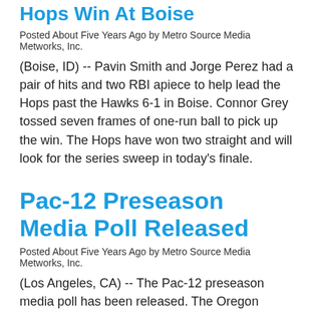Hops Win At Boise
Posted About Five Years Ago by Metro Source Media Metworks, Inc.
(Boise, ID)  --  Pavin Smith and Jorge Perez had a pair of hits and two RBI apiece to help lead the Hops past the Hawks 6-1 in Boise.  Connor Grey tossed seven frames of one-run ball to pick up the win.  The Hops have won two straight and will look for the series sweep in today's finale.
Pac-12 Preseason Media Poll Released
Posted About Five Years Ago by Metro Source Media Metworks, Inc.
(Los Angeles, CA)  --  The Pac-12 preseason media poll has been released.  The Oregon Ducks were picked to finish fourth in the North, while Oregon State came in one spot behind them in fifth.  Washington was selected to repeat as Pac-12 North champs, while USC